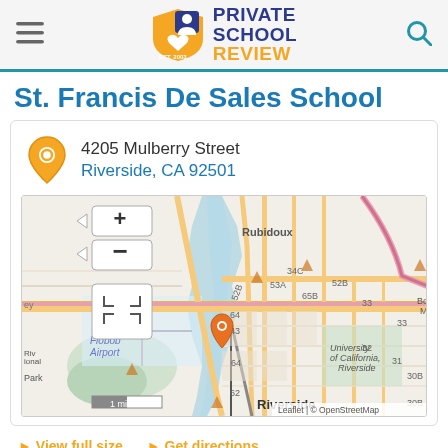Private School Review — Est. 2003
St. Francis De Sales School
4205 Mulberry Street
Riverside, CA 92501
[Figure (map): Leaflet/OpenStreetMap map showing the location of St. Francis De Sales School near Flobob Airport, Riverside, CA. Map marker centered near downtown Riverside. Labels visible: Rubidoux, Flobob Airport, Riverside, University of California Riverside, 1 mi scale bar. Route numbers: 52B, 34C, 53A, 65B, 52B, 33, 64, 43, 33, 64, 32, 31, 30B, 30B, 62. Attribution: Leaflet | © OpenStreetMap]
View full size   Get directions